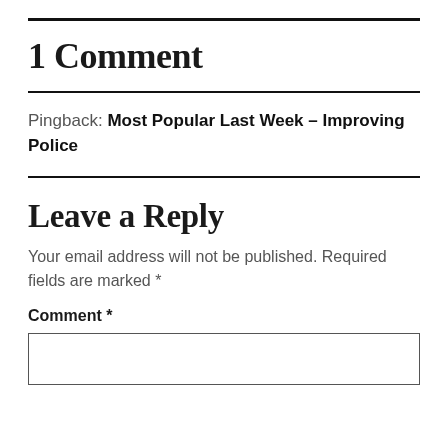1 Comment
Pingback: Most Popular Last Week – Improving Police
Leave a Reply
Your email address will not be published. Required fields are marked *
Comment *